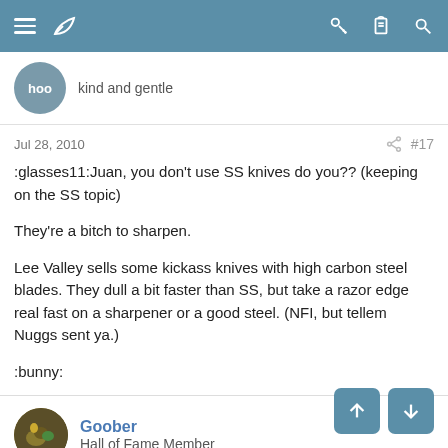Navigation bar with menu, logo, key, clipboard, search icons
hoo
kind and gentle
Jul 28, 2010  #17
:glasses11:Juan, you don't use SS knives do you?? (keeping on the SS topic)

They're a bitch to sharpen.

Lee Valley sells some kickass knives with high carbon steel blades. They dull a bit faster than SS, but take a razor edge real fast on a sharpener or a good steel. (NFI, but tellem Nuggs sent ya.)

:bunny:
Goober
Hall of Fame Member
Jul 28, 2010